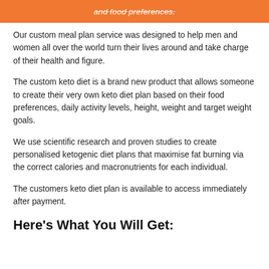[Figure (other): Orange banner with italic strikethrough white text reading 'and food preferences.']
Our custom meal plan service was designed to help men and women all over the world turn their lives around and take charge of their health and figure.
The custom keto diet is a brand new product that allows someone to create their very own keto diet plan based on their food preferences, daily activity levels, height, weight and target weight goals.
We use scientific research and proven studies to create personalised ketogenic diet plans that maximise fat burning via the correct calories and macronutrients for each individual.
The customers keto diet plan is available to access immediately after payment.
Here's What You Will Get: